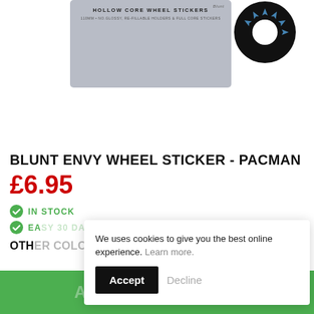[Figure (photo): Product photo showing Blunt Envy Hollow Core Wheel Stickers packaging (110mm) with grey plastic case top and a black circular wheel sticker with blue bird/arrow designs visible on the right side.]
BLUNT ENVY WHEEL STICKER - PACMAN
£6.95
IN STOCK
EASY 30 DAY RETURNS
OTHER COLOURS:
ADD TO BASKET
We uses cookies to give you the best online experience. Learn more.
Accept
Decline